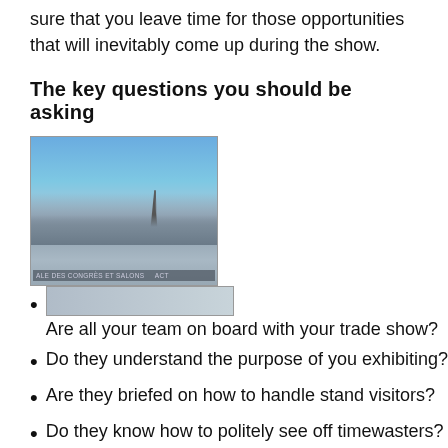sure that you leave time for those opportunities that will inevitably come up during the show.
The key questions you should be asking
[Figure (photo): Aerial/skyline photo of Paris with the Eiffel Tower visible and a large convention/congress hall in the foreground with text 'ALE DES CONGRÈS ET SALONS']
Are all your team on board with your trade show?
Do they understand the purpose of you exhibiting?
Are they briefed on how to handle stand visitors?
Do they know how to politely see off timewasters?
This will depend on the location of the show, but do you have marketing materials in languages other than English – you may get by, but you won't come across as a serious international business if you don't. Do you have anyone